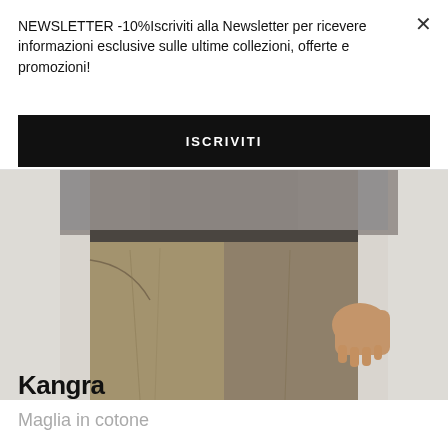[Figure (photo): Close-up photo of a man wearing khaki/tan chino trousers and a grey sweater, cropped from waist to mid-thigh, hands visible at sides, on a light grey background.]
Kangra
Maglia in cotone
NEWSLETTER -10%Iscriviti alla Newsletter per ricevere informazioni esclusive sulle ultime collezioni, offerte e promozioni!
ISCRIVITI